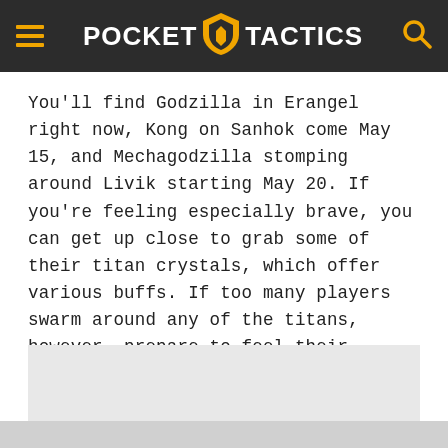POCKET TACTICS
You’ll find Godzilla in Erangel right now, Kong on Sanhok come May 15, and Mechagodzilla stomping around Livik starting May 20. If you’re feeling especially brave, you can get up close to grab some of their titan crystals, which offer various buffs. If too many players swarm around any of the titans, however, prepare to feel their wrath.
[Figure (other): Light gray advertisement or image placeholder block]
[Figure (other): Darker gray advertisement or image placeholder block at bottom]